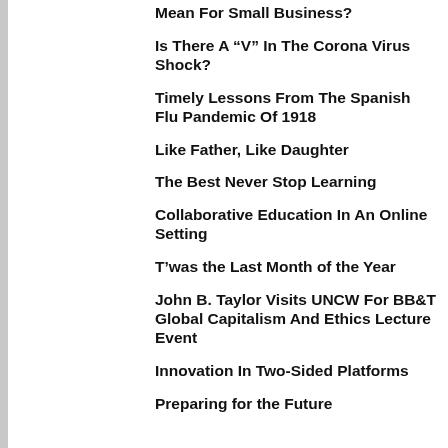Mean For Small Business?
Is There A “V” In The Corona Virus Shock?
Timely Lessons From The Spanish Flu Pandemic Of 1918
Like Father, Like Daughter
The Best Never Stop Learning
Collaborative Education In An Online Setting
T’was the Last Month of the Year
John B. Taylor Visits UNCW For BB&T Global Capitalism And Ethics Lecture Event
Innovation In Two-Sided Platforms
Preparing for the Future